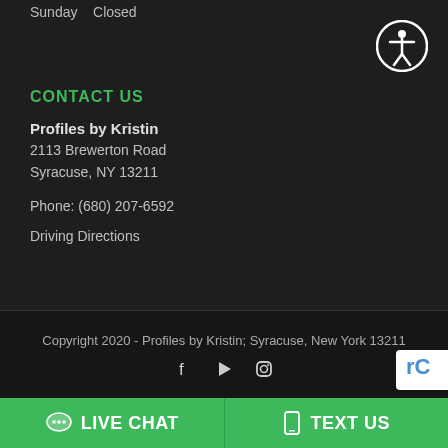Sunday    Closed
CONTACT US
Profiles by Kristin
2113 Brewerton Road
Syracuse, NY 13211

Phone: (680) 207-6592

Driving Directions
Copyright 2020 - Profiles by Kristin; Syracuse, New York 13211
Social icons: Facebook, Play, Instagram